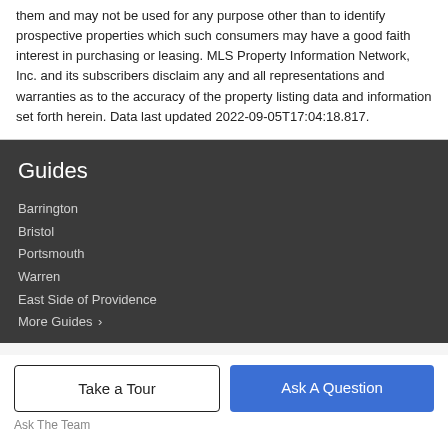them and may not be used for any purpose other than to identify prospective properties which such consumers may have a good faith interest in purchasing or leasing. MLS Property Information Network, Inc. and its subscribers disclaim any and all representations and warranties as to the accuracy of the property listing data and information set forth herein. Data last updated 2022-09-05T17:04:18.817.
Guides
Barrington
Bristol
Portsmouth
Warren
East Side of Providence
More Guides ›
Take a Tour
Ask A Question
Ask The Team